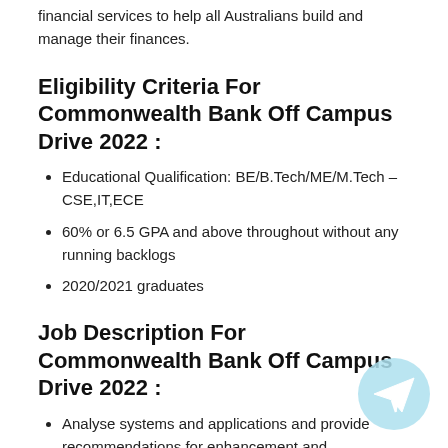financial services to help all Australians build and manage their finances.
Eligibility Criteria For Commonwealth Bank Off Campus Drive 2022 :
Educational Qualification: BE/B.Tech/ME/M.Tech – CSE,IT,ECE
60% or 6.5 GPA and above throughout without any running backlogs
2020/2021 graduates
Job Description For Commonwealth Bank Off Campus Drive 2022 :
Analyse systems and applications and provide recommendations for enhancement and development
Contribute to the technical design of system enhancements
Software development and quality control of software